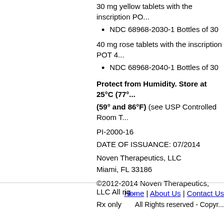30 mg yellow tablets with the inscription PO...
NDC 68968-2030-1 Bottles of 30
40 mg rose tablets with the inscription POT 4...
NDC 68968-2040-1 Bottles of 30
Protect from Humidity. Store at 25°C (77°F); excursions permitted to 15° to 30°C (59° and 86°F) (see USP Controlled Room Temperature).
PI-2000-16
DATE OF ISSUANCE: 07/2014
Noven Therapeutics, LLC
Miami, FL 33186
©2012-2014 Noven Therapeutics, LLC All rights reserved.
Rx only
Home | About Us | Contact Us
All Rights reserved - Copyright